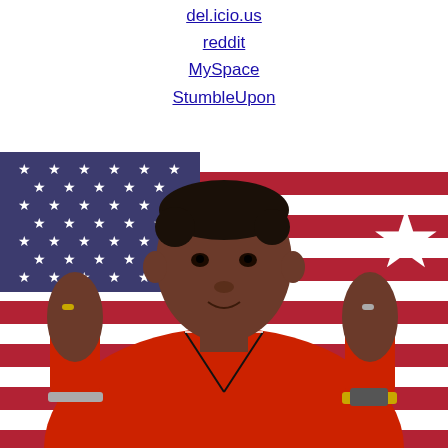del.icio.us
reddit
MySpace
StumbleUpon
[Figure (photo): A man in a red v-neck sweater poses with both fists raised in a boxing stance in front of an American flag background. He is wearing rings and a bracelet/watch.]